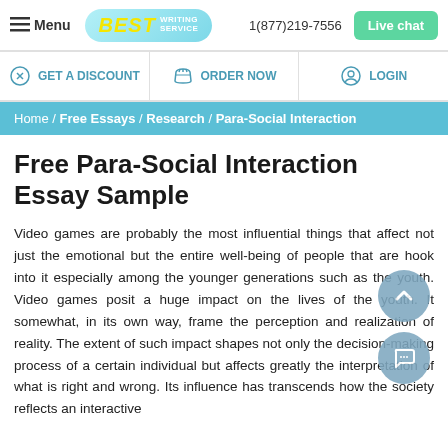Menu | BEST WRITING SERVICE | 1(877)219-7556 | Live chat
GET A DISCOUNT | ORDER NOW | LOGIN
Home / Free Essays / Research / Para-Social Interaction
Free Para-Social Interaction Essay Sample
Video games are probably the most influential things that affect not just the emotional but the entire well-being of people that are hook into it especially among the younger generations such as the youth. Video games posit a huge impact on the lives of the youth. It somewhat, in its own way, frame the perception and realization of reality. The extent of such impact shapes not only the decision-making process of a certain individual but affects greatly the interpretation of what is right and wrong. Its influence has transcends how the society reflects an interactive